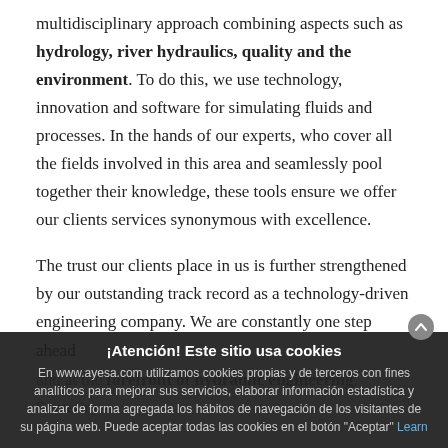multidisciplinary approach combining aspects such as hydrology, river hydraulics, quality and the environment. To do this, we use technology, innovation and software for simulating fluids and processes. In the hands of our experts, who cover all the fields involved in this area and seamlessly pool together their knowledge, these tools ensure we offer our clients services synonymous with excellence.
The trust our clients place in us is further strengthened by our outstanding track record as a technology-driven engineering company. We are constantly one step ahead and at the forefront of hydraulic engineering. Sometimes
¡Atención! Este sitio usa cookies
En www.ayesa.com utilizamos cookies propias y de terceros con fines analíticos para mejorar sus servicios, elaborar información estadística y analizar de forma agregada los hábitos de navegación de los visitantes de su página web. Puede aceptar todas las cookies en el botón "Aceptar" Learn